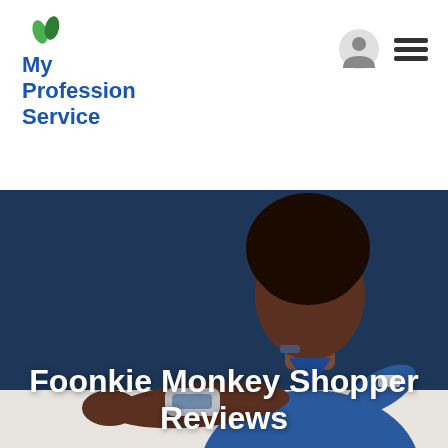[Figure (logo): My Profession Service logo with green leaves and blue bold text]
[Figure (photo): A woman in blue medical scrubs using a blood pressure monitor on her arm, posed against a dark navy blue background]
Foonkie Monkey Shopper Reviews